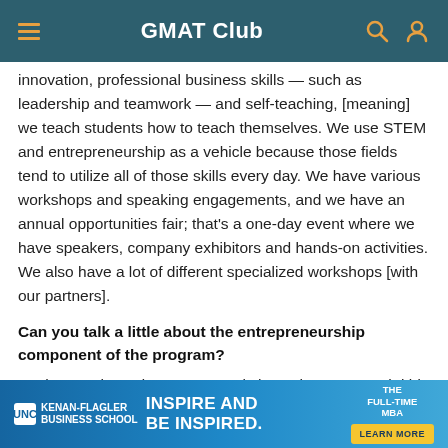GMAT Club
innovation, professional business skills — such as leadership and teamwork — and self-teaching, [meaning] we teach students how to teach themselves. We use STEM and entrepreneurship as a vehicle because those fields tend to utilize all of those skills every day. We have various workshops and speaking engagements, and we have an annual opportunities fair; that's a one-day event where we have speakers, company exhibitors and hands-on activities. We also have a lot of different specialized workshops [with our partners].
Can you talk a little about the entrepreneurship component of the program?
We have a three-day startup workshop where we teach kids
[Figure (screenshot): UNC Kenan-Flagler Business School advertisement banner: 'Inspire and Be Inspired. The Full-Time MBA. Learn More.']